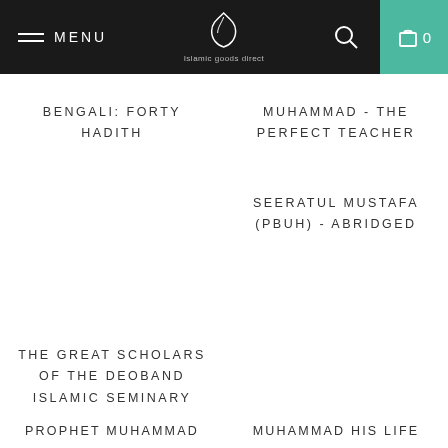MENU | Islamic goods direct | 0
BENGALI: FORTY HADITH
MUHAMMAD - THE PERFECT TEACHER
SEERATUL MUSTAFA (PBUH) - ABRIDGED
THE GREAT SCHOLARS OF THE DEOBAND ISLAMIC SEMINARY
PROPHET MUHAMMAD
MUHAMMAD HIS LIFE